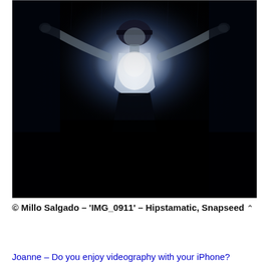[Figure (photo): A person standing with arms outstretched against a dark background, illuminated from above with a bright light on their torso. The image has a heavy vignette and moody, dark tones with the subject wearing dark pants and no shirt, appearing to stand in the rain or a dark environment. Processed with Hipstamatic and Snapseed.]
© Millo Salgado – 'IMG_0911' – Hipstamatic, Snapseed
Joanne – Do you enjoy videography with your iPhone?